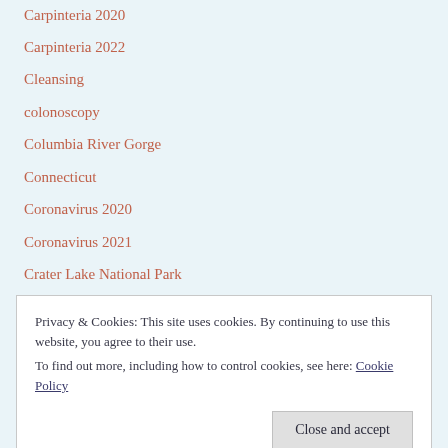Carpinteria 2020
Carpinteria 2022
Cleansing
colonoscopy
Columbia River Gorge
Connecticut
Coronavirus 2020
Coronavirus 2021
Crater Lake National Park
Dan and Hannah Moments
Dan in Knoxville Jail
Privacy & Cookies: This site uses cookies. By continuing to use this website, you agree to their use. To find out more, including how to control cookies, see here: Cookie Policy
Close and accept
Florida